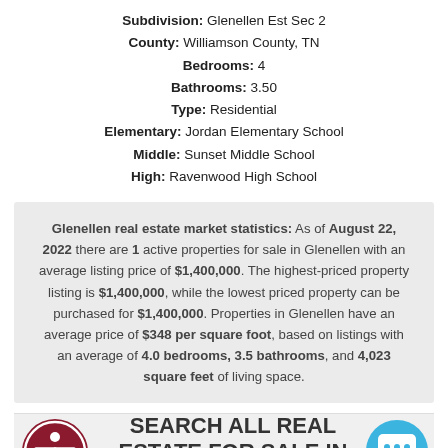Subdivision: Glenellen Est Sec 2
County: Williamson County, TN
Bedrooms: 4
Bathrooms: 3.50
Type: Residential
Elementary: Jordan Elementary School
Middle: Sunset Middle School
High: Ravenwood High School
Glenellen real estate market statistics: As of August 22, 2022 there are 1 active properties for sale in Glenellen with an average listing price of $1,400,000. The highest-priced property listing is $1,400,000, while the lowest priced property can be purchased for $1,400,000. Properties in Glenellen have an average price of $348 per square foot, based on listings with an average of 4.0 bedrooms, 3.5 bathrooms, and 4,023 square feet of living space.
SEARCH ALL REAL ESTATE FOR SALE IN BRENTWOOD